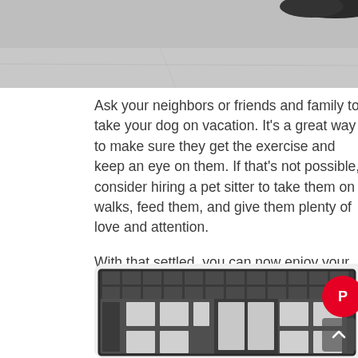[Figure (photo): Top portion of a photo showing a dog on a gray surface, only bottom edge visible]
Ask your neighbors or friends and family to take your dog on vacation. It's a great way to make sure they get the exercise and keep an eye on them. If that's not possible, consider hiring a pet sitter to take them on walks, feed them, and give them plenty of love and attention.

With that settled, you can now enjoy your well-deserved vacation worry-free. Have a happy and safe winter season!
[Figure (photo): Photo of a large metal/steel dog crate or kennel cage with grid bars on top and rectangular panels on the sides and front door]